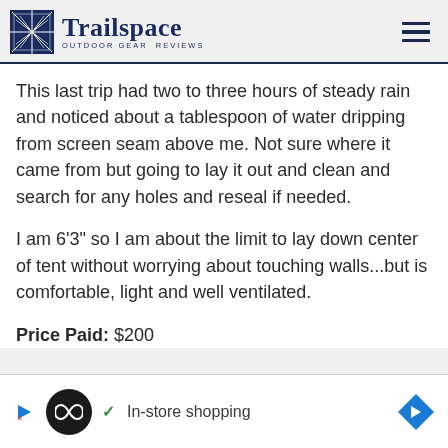Trailspace OUTDOOR GEAR REVIEWS
This last trip had two to three hours of steady rain and noticed about a tablespoon of water dripping from screen seam above me. Not sure where it came from but going to lay it out and clean and search for any holes and reseal if needed.
I am 6'3" so I am about the limit to lay down center of tent without worrying about touching walls...but is comfortable, light and well ventilated.
Price Paid: $200
[Figure (other): Advertisement banner with play icon, infinity loop icon, checkmark, 'In-store shopping' text, and blue diamond navigation arrow]